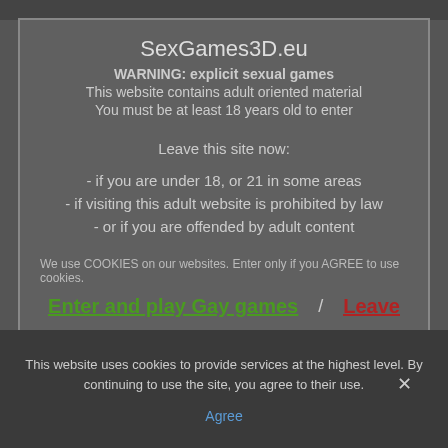SexGames3D.eu
WARNING: explicit sexual games
This website contains adult oriented material
You must be at least 18 years old to enter
Leave this site now:
- if you are under 18, or 21 in some areas
- if visiting this adult website is prohibited by law
- or if you are offended by adult content
We use COOKIES on our websites. Enter only if you AGREE to use cookies.
Enter and play Gay games | Leave
This website uses cookies to provide services at the highest level. By continuing to use the site, you agree to their use.
Agree